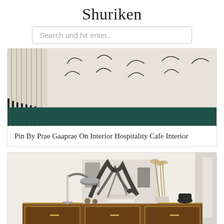Shuriken
Search and hit enter..
[Figure (photo): Interior room with textured cream/beige wall panels on the left side featuring vertical lines, and a dark teal/green painted lower wall section. Abstract line doodles drawn on the upper cream portion of the wall.]
Pin By Prae Gaaprae On Interior Hospitality Cafe Interior
[Figure (photo): Stylish interior vignette showing a mid-century modern wooden sideboard/credenza with brass accents, topped with a modern arc desk lamp, a large abstract black and white artwork leaning against the wall, dried pampas grass in a vase, stacked books, and decorative objects including a dark ceramic vase and a gold jewelry stand.]